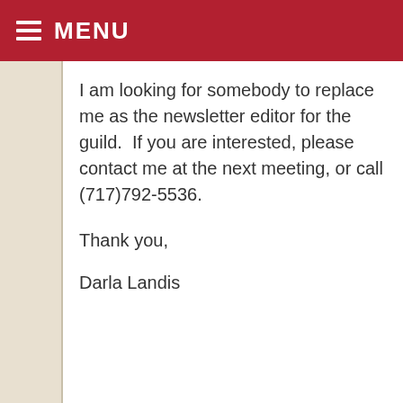MENU
I am looking for somebody to replace me as the newsletter editor for the guild.  If you are interested, please contact me at the next meeting, or call (717)792-5536.
Thank you,
Darla Landis